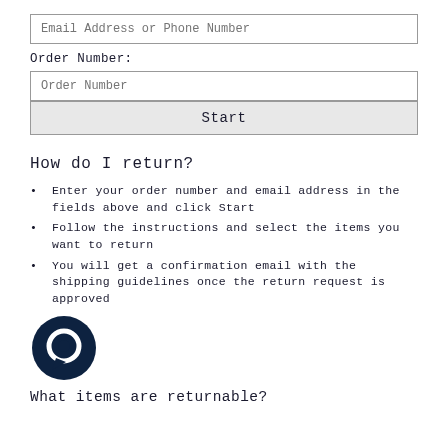Email Address or Phone Number
Order Number:
Order Number
Start
How do I return?
Enter your order number and email address in the fields above and click Start
Follow the instructions and select the items you want to return
You will get a confirmation email with the shipping guidelines once the return request is approved
[Figure (illustration): Dark navy circular chat/message bubble icon]
What items are returnable?